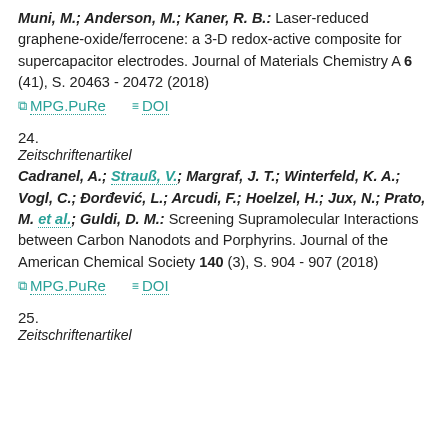Muni, M.; Anderson, M.; Kaner, R. B.: Laser-reduced graphene-oxide/ferrocene: a 3-D redox-active composite for supercapacitor electrodes. Journal of Materials Chemistry A 6 (41), S. 20463 - 20472 (2018)
MPG.PuRe   DOI
24.
Zeitschriftenartikel
Cadranel, A.; Strauß, V.; Margraf, J. T.; Winterfeld, K. A.; Vogl, C.; Đorđević, L.; Arcudi, F.; Hoelzel, H.; Jux, N.; Prato, M. et al.; Guldi, D. M.: Screening Supramolecular Interactions between Carbon Nanodots and Porphyrins. Journal of the American Chemical Society 140 (3), S. 904 - 907 (2018)
MPG.PuRe   DOI
25.
Zeitschriftenartikel